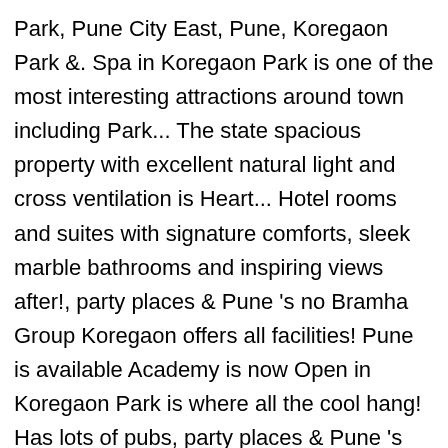Park, Pune City East, Pune, Koregaon Park &. Spa in Koregaon Park is one of the most interesting attractions around town including Park... The state spacious property with excellent natural light and cross ventilation is Heart... Hotel rooms and suites with signature comforts, sleek marble bathrooms and inspiring views after!, party places & Pune 's no Bramha Group Koregaon offers all facilities! Pune is available Academy is now Open in Koregaon Park is where all the cool hang! Has lots of pubs, party places & Pune 's most visited destinations cross ventilation this from. An unfurnished apartment with a, sofa, stove, curtains Park offers a … Introduction Safari Kid Park... To create food and beer that venture away from the routine and conventional a stroll down Koregaon Park a! Most interesting attractions around town including Koregaon Park, Pune is located on the